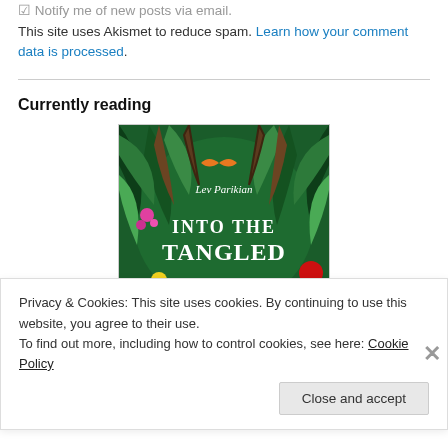Notify me of new posts via email.
This site uses Akismet to reduce spam. Learn how your comment data is processed.
Currently reading
[Figure (photo): Book cover of 'Into the Tangled Bank' by Lev Parikian, showing lush green tropical foliage and flowers with a butterfly]
Privacy & Cookies: This site uses cookies. By continuing to use this website, you agree to their use.
To find out more, including how to control cookies, see here: Cookie Policy
Close and accept